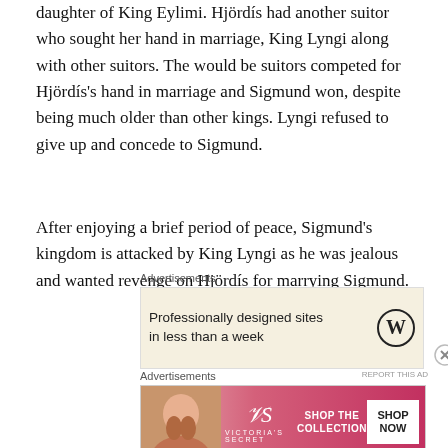daughter of King Eylimi. Hjördís had another suitor who sought her hand in marriage, King Lyngi along with other suitors. The would be suitors competed for Hjördís's hand in marriage and Sigmund won, despite being much older than other kings. Lyngi refused to give up and concede to Sigmund.
After enjoying a brief period of peace, Sigmund's kingdom is attacked by King Lyngi as he was jealous and wanted revenge on Hjördís for marrying Sigmund.
[Figure (other): Advertisement banner: WordPress ad — 'Professionally designed sites in less than a week' with WordPress logo]
[Figure (other): Advertisement banner: Victoria's Secret — 'SHOP THE COLLECTION' with SHOP NOW button and model photo]